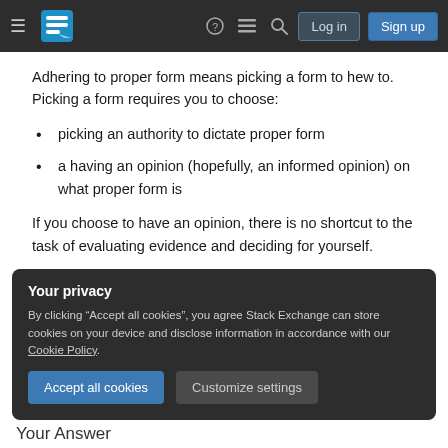Stack Exchange navigation bar with hamburger menu, logo, help, chat, search icons, Log in and Sign up buttons
Adhering to proper form means picking a form to hew to. Picking a form requires you to choose:
picking an authority to dictate proper form
a having an opinion (hopefully, an informed opinion) on what proper form is
If you choose to have an opinion, there is no shortcut to the task of evaluating evidence and deciding for yourself.
Your privacy
By clicking “Accept all cookies”, you agree Stack Exchange can store cookies on your device and disclose information in accordance with our Cookie Policy.
Accept all cookies   Customize settings
Your Answer